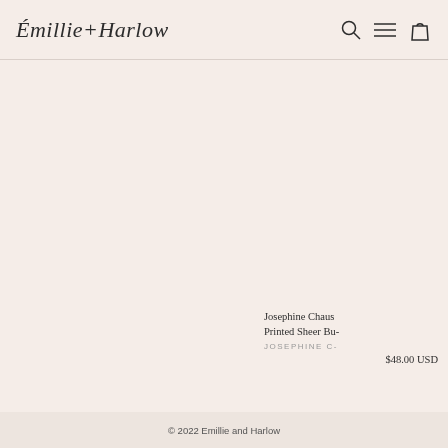Émillie+Harlow
Josephine Chaus- Printed Sheer Bu-
JOSEPHINE C-
$48.00 USD
© 2022 Emillie and Harlow